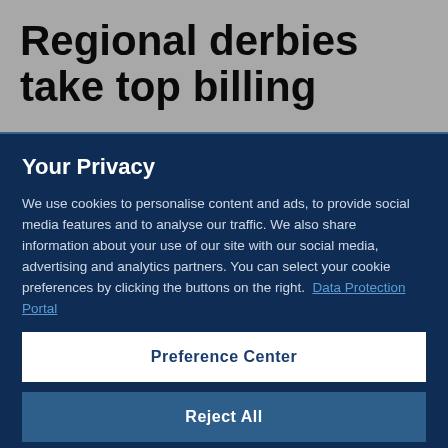Regional derbies take top billing
Your Privacy
We use cookies to personalise content and ads, to provide social media features and to analyse our traffic. We also share information about your use of our site with our social media, advertising and analytics partners. You can select your cookie preferences by clicking the buttons on the right.  Data Protection Portal
Preference Center
Reject All
I'm OK with that